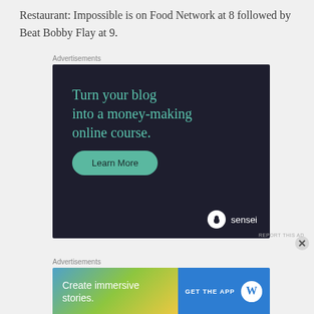Restaurant: Impossible is on Food Network at 8 followed by Beat Bobby Flay at 9.
[Figure (other): Advertisement: Sensei ad — 'Turn your blog into a money-making online course.' with 'Learn More' button on dark background]
[Figure (other): Advertisement: WordPress app — 'Create immersive stories.' with 'GET THE APP' button and WordPress logo]